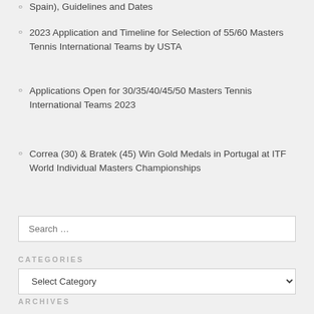Spain), Guidelines and Dates
2023 Application and Timeline for Selection of 55/60 Masters Tennis International Teams by USTA
Applications Open for 30/35/40/45/50 Masters Tennis International Teams 2023
Correa (30) & Bratek (45) Win Gold Medals in Portugal at ITF World Individual Masters Championships
Search …
CATEGORIES
Select Category
ARCHIVES
Select Month
FOLLOW ME ON TWITTER